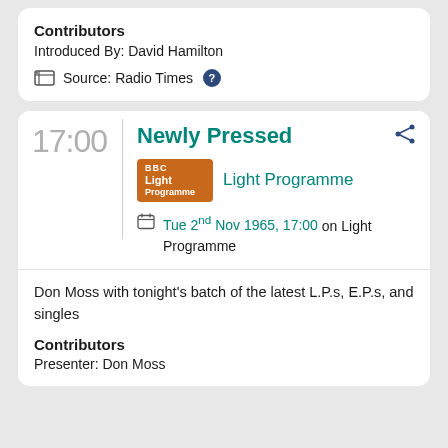Contributors
Introduced By:  David Hamilton
Source: Radio Times ?
17:00
Newly Pressed
Light Programme
Tue 2nd Nov 1965, 17:00 on Light Programme
Don Moss with tonight's batch of the latest L.P.s, E.P.s, and singles
Contributors
Presenter:  Don Moss